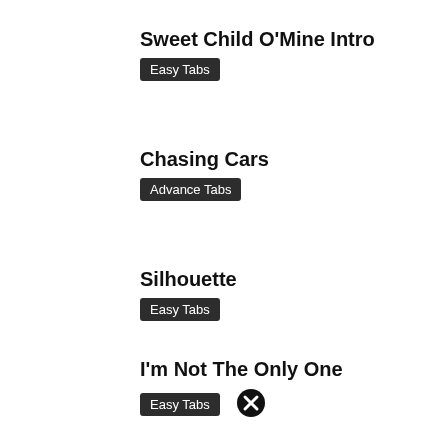Sweet Child O'Mine Intro
Easy Tabs
Chasing Cars
Advance Tabs
Silhouette
Easy Tabs
I'm Not The Only One
Easy Tabs